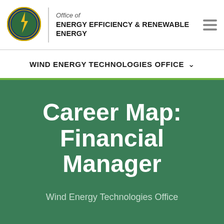[Figure (logo): U.S. Department of Energy seal/logo - circular gold and green emblem]
Office of ENERGY EFFICIENCY & RENEWABLE ENERGY
WIND ENERGY TECHNOLOGIES OFFICE
Career Map: Financial Manager
Wind Energy Technologies Office